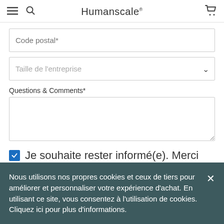Humanscale
Code postal*
Taille de l'entreprise
Questions & Comments*
Je souhaite rester informé(e). Merci
Nous utilisons nos propres cookies et ceux de tiers pour améliorer et personnaliser votre expérience d'achat. En utilisant ce site, vous consentez à l'utilisation de cookies. Cliquez ici pour plus d'informations.